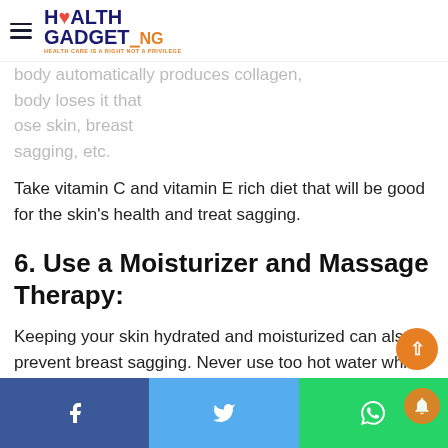Health Gadget NG — HEALTH CARE IS A RIGHT NOT A PRIVILEGE
body automatically produces collagen, body loses it that cause loose skin, breast sagging, etc.
Take vitamin C and vitamin E rich diet that will be good for the skin's health and treat sagging.
6. Use a Moisturizer and Massage Therapy:
Keeping your skin hydrated and moisturized can also prevent breast sagging. Never use too hot water while
Facebook share | Twitter share | WhatsApp share